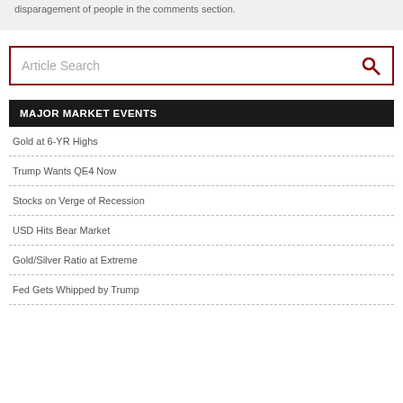disparagement of people in the comments section.
Article Search
MAJOR MARKET EVENTS
Gold at 6-YR Highs
Trump Wants QE4 Now
Stocks on Verge of Recession
USD Hits Bear Market
Gold/Silver Ratio at Extreme
Fed Gets Whipped by Trump